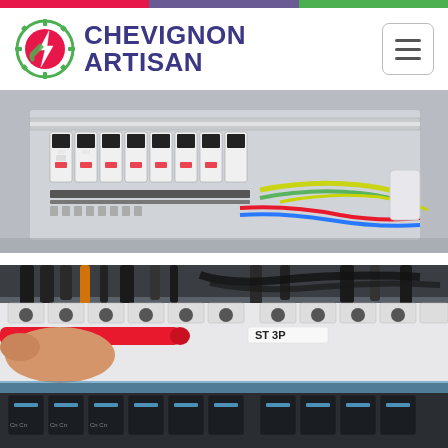[Figure (other): Decorative color bar at top: red, purple, green segments]
[Figure (logo): Chevignon Artisan logo with gear and lightning bolt icon, company name in dark purple bold text]
[Figure (photo): Close-up photo of an electrical panel/circuit breaker box with colorful wires (green-yellow, red, blue) and multiple circuit breakers]
[Figure (photo): Close-up photo of a hand holding a red multimeter probe near a row of electrical circuit breakers/fuses]